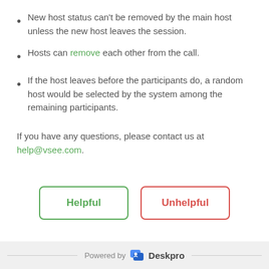New host status can't be removed by the main host unless the new host leaves the session.
Hosts can remove each other from the call.
If the host leaves before the participants do, a random host would be selected by the system among the remaining participants.
If you have any questions, please contact us at help@vsee.com.
Helpful
Unhelpful
Powered by Deskpro